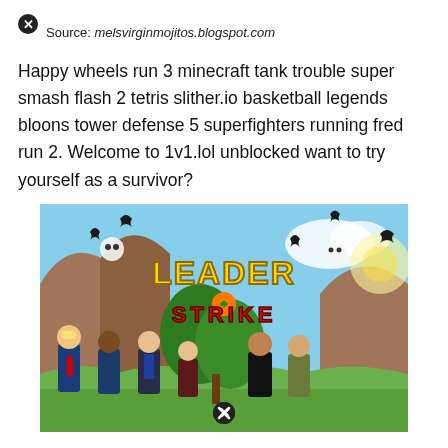Source: melsvirginmojitos.blogspot.com
Happy wheels run 3 minecraft tank trouble super smash flash 2 tetris slither.io basketball legends bloons tower defense 5 superfighters running fred run 2. Welcome to 1v1.lol unblocked want to try yourself as a survivor?
[Figure (screenshot): Screenshot of the 'Leader Strike' video game showing cartoon caricatures of world leaders with weapons in a tropical outdoor setting with Halloween decorations (bats, pumpkins, skulls) and the game logo at the top.]